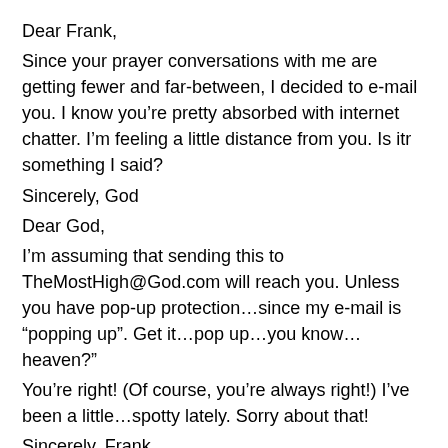Dear Frank,
Since your prayer conversations with me are getting fewer and far-between, I decided to e-mail you. I know you’re pretty absorbed with internet chatter. I’m feeling a little distance from you. Is itr something I said?
Sincerely, God
Dear God,
I’m assuming that sending this to TheMostHigh@God.com will reach you. Unless you have pop-up protection…since my e-mail is “popping up”. Get it…pop up…you know… heaven?”
You’re right! (Of course, you’re always right!) I’ve been a little…spotty lately. Sorry about that!
Sincerely, Frank
Dear Frank,
Was that repentance in your last e-mail? Kind of lame!